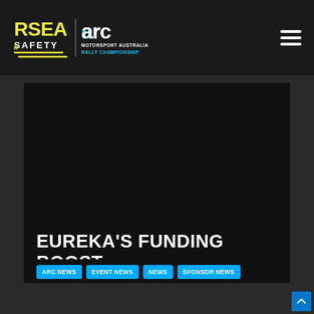RSEA Safety | ARC Motorsport Australia Rally Championship
[Figure (photo): Dark hero image area for a news article on the ARC (Australian Rally Championship) website]
EUREKA'S FUNDING BOOST
ARC NEWS
EVENT NEWS
NEWS
SPONSOR NEWS